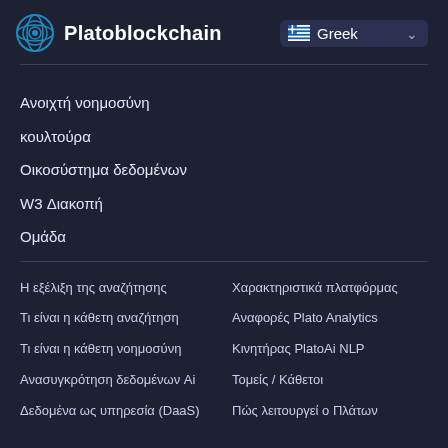Platoblockchain
Greek
Ανοιχτή νοημοσύνη
κουλτούρα
Οικοσύστημα δεδομένων
W3 Διακοπή
Ομάδα
Η εξέλιξη της αναζήτησης
Χαρακτηριστικά πλατφόρμας
Τι είναι η κάθετη αναζήτηση
Αναφορές Plato Analytics
Τι είναι η κάθετη νοημοσύνη
Κινητήρας PlatoAi NLP
Ανασυγκρότηση δεδομένων Ai
Τομείς / Κάθετοι
Δεδομένα ως υπηρεσία (DaaS)
Πώς λειτουργεί ο Πλάτων